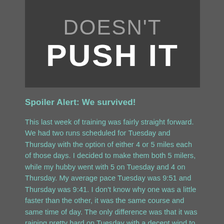[Figure (other): Dark banner with large text reading DOESN'T PUSH IT in two lines, with DOESN'T in light gray thin font and PUSH IT in bold white]
Spoiler Alert: We survived!
This last week of training was fairly straight forward. We had two runs scheduled for Tuesday and Thursday with the option of either 4 or 5 miles each of those days. I decided to make them both 5 milers, while my hubby went with 5 on Tuesday and 4 on Thursday. My average pace Tuesday was 9:51 and Thursday was 9:41. I don't know why one was a little faster than the other, it was the same course and same time of day. The only difference was that it was raining pretty hard on Tuesday with a decent wind to contend with, so perhaps that affected me more than I realized.